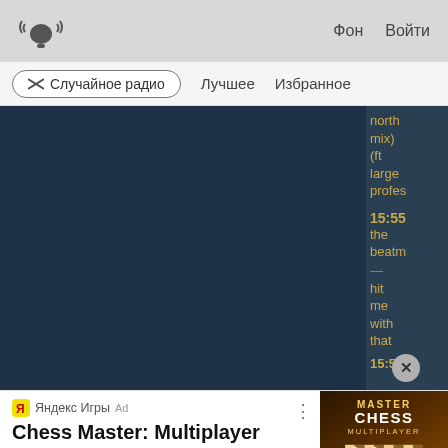Фон  Войти
Случайное радио  Лучшее  Избранное
[Figure (screenshot): Dark blue music player interface with side panel showing song info: 'north mix) (ft large profes...' at 15:55, 'the beatm' and 'hit me with that' at 15:54]
Яндекс Игры  Ad
Chess Master: Multiplayer
Play Popular Games Online in Your Browser. No Installation Required
[Figure (illustration): Chess Master Multiplayer game advertisement image with chess board and pieces on dark wooden background]